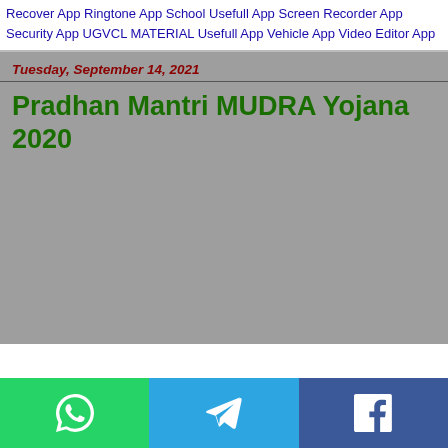Recover App Ringtone App School Usefull App Screen Recorder App Security App UGVCL MATERIAL Usefull App Vehicle App Video Editor App
Tuesday, September 14, 2021
Pradhan Mantri MUDRA Yojana 2020
[Figure (screenshot): Gray placeholder image area below the article title]
WhatsApp | Telegram | Facebook share buttons